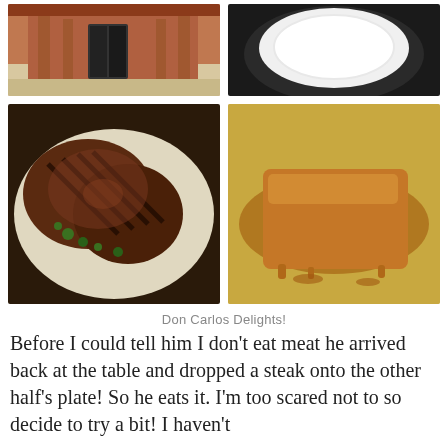[Figure (photo): Exterior of a restaurant building with red/brown walls and glass doors, taken in daylight]
[Figure (photo): Close-up of a white plate on a dark surface, possibly a bowl or plate setting]
[Figure (photo): Grilled steak with grill marks, garnished with fresh herbs on a plate]
[Figure (photo): Flan or caramel custard dessert on a plate with caramel sauce]
Don Carlos Delights!
Before I could tell him I don't eat meat he arrived back at the table and dropped a steak onto the other half's plate! So he eats it. I'm too scared not to so decide to try a bit! I haven't